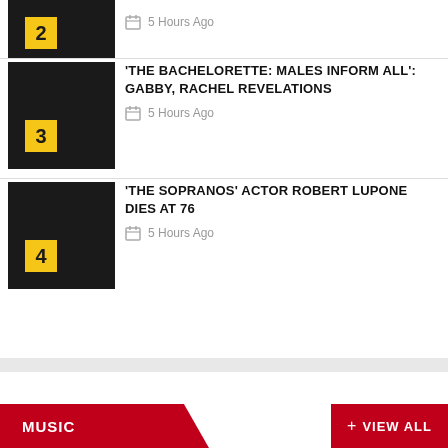[Figure (other): Thumbnail for item 2 (partial, cropped at top), black background with yellow rank badge showing number 2]
5 Hours Ago
[Figure (other): Thumbnail for item 3, black background with yellow rank badge showing number 3]
'THE BACHELORETTE: MALES INFORM ALL': GABBY, RACHEL REVELATIONS
5 Hours Ago
[Figure (other): Thumbnail for item 4, black background with yellow rank badge showing number 4]
'THE SOPRANOS' ACTOR ROBERT LUPONE DIES AT 76
5 Hours Ago
MUSIC
+ VIEW ALL